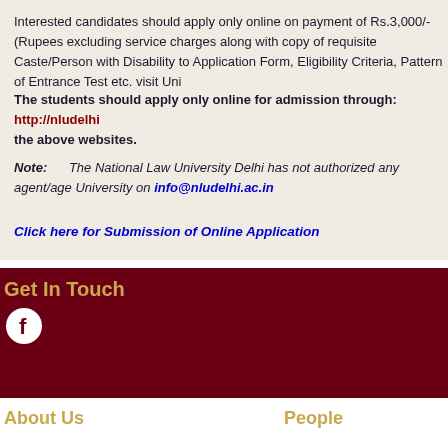Interested candidates should apply only online on payment of Rs.3,000/- (Rupees excluding service charges along with copy of requisite Caste/Person with Disability to Application Form, Eligibility Criteria, Pattern of Entrance Test etc. visit Uni
The students should apply only online for admission through: http://nludelhi the above websites.
Note:      The National Law University Delhi has not authorized any agent/age University on info@nludelhi.ac.in
Click here for Submission of Online Application
Get In Touch
[Figure (logo): Facebook icon - white circle with Facebook 'f' logo on dark red background]
About Us    People